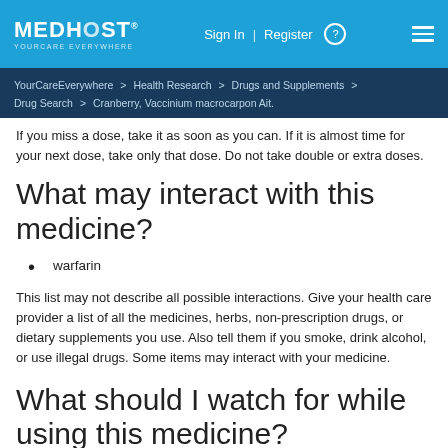MEDHOST YOURCARE EVERYWHERE   Sign In | Register   ☰
YourCareEverywhere > Health Research > Drugs and Supplements > Drug Search > Cranberry, Vaccinium macrocarpon Ait.
If you miss a dose, take it as soon as you can. If it is almost time for your next dose, take only that dose. Do not take double or extra doses.
What may interact with this medicine?
warfarin
This list may not describe all possible interactions. Give your health care provider a list of all the medicines, herbs, non-prescription drugs, or dietary supplements you use. Also tell them if you smoke, drink alcohol, or use illegal drugs. Some items may interact with your medicine.
What should I watch for while using this medicine?